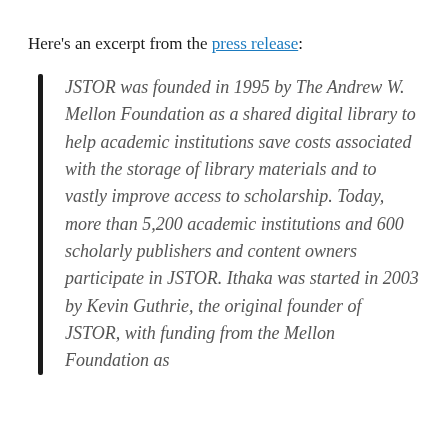Here's an excerpt from the press release:
JSTOR was founded in 1995 by The Andrew W. Mellon Foundation as a shared digital library to help academic institutions save costs associated with the storage of library materials and to vastly improve access to scholarship. Today, more than 5,200 academic institutions and 600 scholarly publishers and content owners participate in JSTOR. Ithaka was started in 2003 by Kevin Guthrie, the original founder of JSTOR, with funding from the Mellon Foundation as